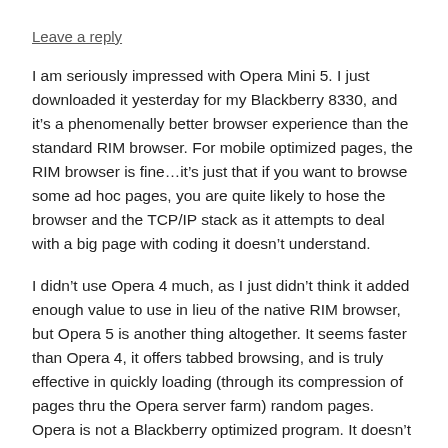Leave a reply
I am seriously impressed with Opera Mini 5. I just downloaded it yesterday for my Blackberry 8330, and it’s a phenomenally better browser experience than the standard RIM browser. For mobile optimized pages, the RIM browser is fine…it’s just that if you want to browse some ad hoc pages, you are quite likely to hose the browser and the TCP/IP stack as it attempts to deal with a big page with coding it doesn’t understand.
I didn’t use Opera 4 much, as I just didn’t think it added enough value to use in lieu of the native RIM browser, but Opera 5 is another thing altogether. It seems faster than Opera 4, it offers tabbed browsing, and is truly effective in quickly loading (through its compression of pages thru the Opera server farm) random pages. Opera is not a Blackberry optimized program. It doesn’t alway work the way other BBY